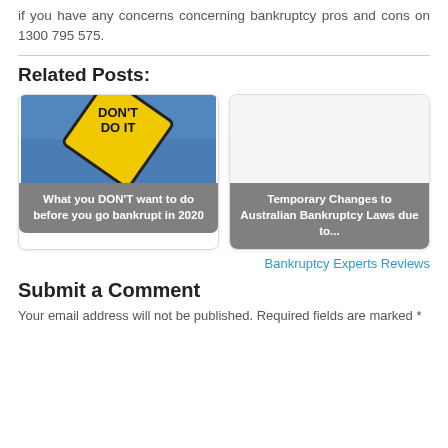if you have any concerns concerning bankruptcy pros and cons on 1300 795 575.
Related Posts:
[Figure (photo): Card showing a yellow diamond road sign reading 'DON'T DO IT' against a blue sky, with caption 'What you DON'T want to do before you go bankrupt in 2020']
[Figure (photo): Card with grey placeholder image and caption 'Temporary Changes to Australian Bankruptcy Laws due to...']
Bankruptcy Experts Reviews
Submit a Comment
Your email address will not be published. Required fields are marked *